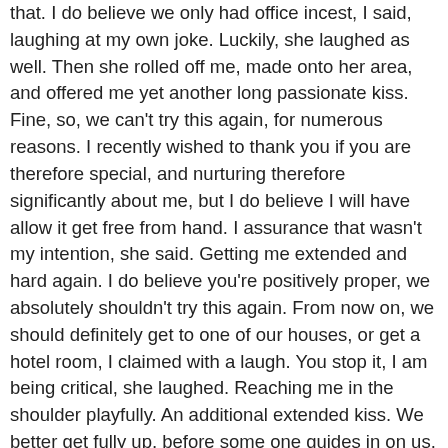that. I do believe we only had office incest, I said, laughing at my own joke. Luckily, she laughed as well. Then she rolled off me, made onto her area, and offered me yet another long passionate kiss. Fine, so, we can't try this again, for numerous reasons. I recently wished to thank you if you are therefore special, and nurturing therefore significantly about me, but I do believe I will have allow it get free from hand. I assurance that wasn't my intention, she said. Getting me extended and hard again. I do believe you're positively proper, we absolutely shouldn't try this again. From now on, we should definitely get to one of our houses, or get a hotel room, I claimed with a laugh. You stop it, I am being critical, she laughed. Reaching me in the shoulder playfully. An additional extended kiss. We better get fully up, before some one guides in on us. We both sit up, and began gathering her clothes. She appears so lovely getting her panties on, and then her bra. Seeing her right now, in just her bright red bra and bright red panties, she seems exactly how I imagined her today when she started that full ball a rollin. Taking up my shorts, I zip up and strip up, and give her dress to her. She sets it on, and turns her back to me, in a quiet request for help. I seize the freezer, and fall it up the back.